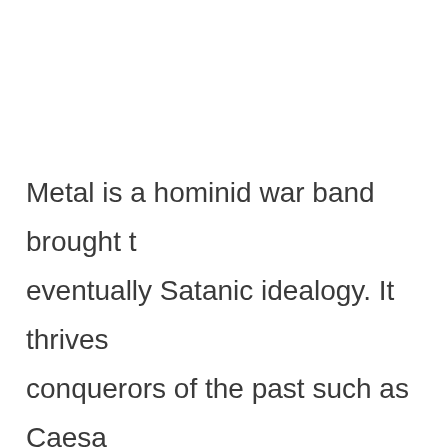Metal is a hominid war band brought to eventually Satanic idealogy. It thrives conquerors of the past such as Caesa butchered the barbaric hordes already Germanic army fought on a late Roma were initiated into Constantine's milit father and ruler of the universe. His W than the depleted Western Roman leg